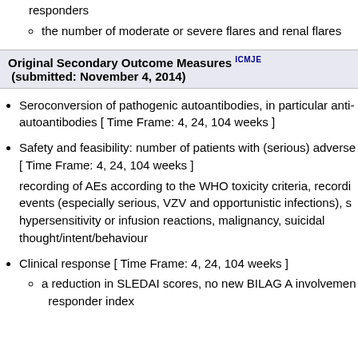responders
the number of moderate or severe flares and renal flares
Original Secondary Outcome Measures ICMJE (submitted: November 4, 2014)
Seroconversion of pathogenic autoantibodies, in particular anti- autoantibodies [ Time Frame: 4, 24, 104 weeks ]
Safety and feasibility: number of patients with (serious) adverse [ Time Frame: 4, 24, 104 weeks ]
recording of AEs according to the WHO toxicity criteria, recording events (especially serious, VZV and opportunistic infections), s hypersensitivity or infusion reactions, malignancy, suicidal thought/intent/behaviour
Clinical response [ Time Frame: 4, 24, 104 weeks ]
a reduction in SLEDAI scores, no new BILAG A involvement responder index